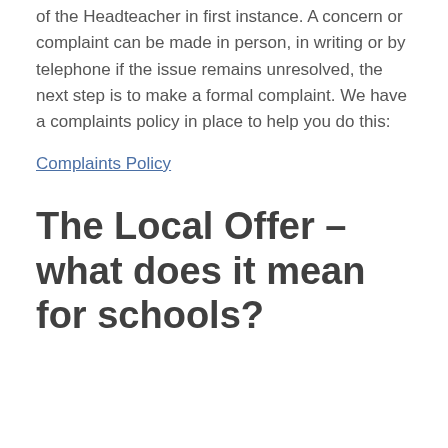of the Headteacher in first instance. A concern or complaint can be made in person, in writing or by telephone if the issue remains unresolved, the next step is to make a formal complaint. We have a complaints policy in place to help you do this:
Complaints Policy
The Local Offer – what does it mean for schools?